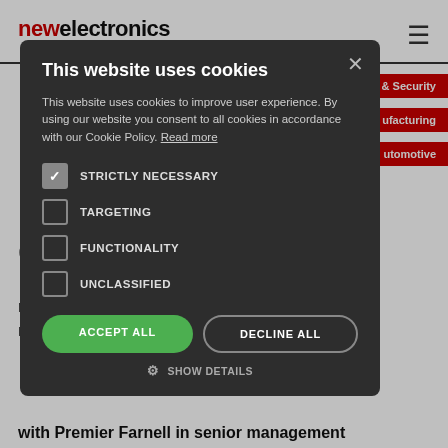newelectronics
[Figure (screenshot): Cookie consent modal overlay on the New Electronics website. Modal has dark background with cookie consent options: Strictly Necessary (checked), Targeting, Functionality, Unclassified; buttons: Accept All and Decline All; Show Details link at bottom. Behind modal: red nav pills for & Security, ufacturing, utomotive; partial headline text 'r an es Bell' and partial article text.]
This website uses cookies
This website uses cookies to improve user experience. By using our website you consent to all cookies in accordance with our Cookie Policy. Read more
STRICTLY NECESSARY
TARGETING
FUNCTIONALITY
UNCLASSIFIED
ACCEPT ALL
DECLINE ALL
SHOW DETAILS
with Premier Farnell in senior management